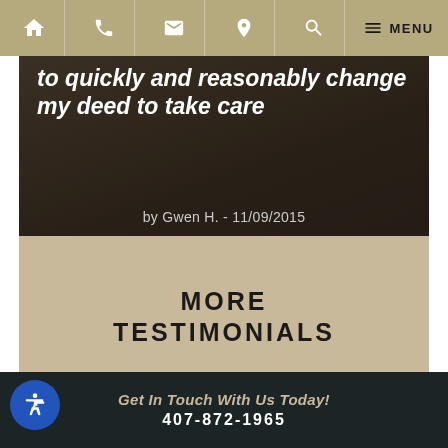Navigation bar with home, phone, email, location, search, menu icons
[Figure (screenshot): Dark-toned photo of person with text overlay: 'to quickly and reasonably change my deed to take care' by Gwen H. - 11/09/2015, with a tan 'MORE TESTIMONIALS' call-to-action box below]
MORE TESTIMONIALS
Get In Touch With Us Today! 407-872-1965